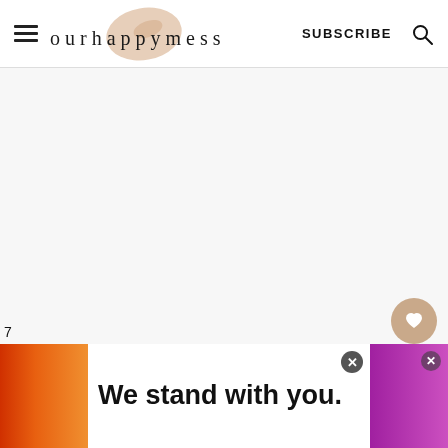ourhappymess | SUBSCRIBE
[Figure (screenshot): Large empty/white content area occupying the main body of the webpage screenshot]
[Figure (infographic): Floating social panel on the right: heart icon button with 23.2K count and share button below]
[Figure (infographic): What's Next panel showing Healthy Raspberry... with food thumbnail image and WW logo]
[Figure (infographic): Advertisement banner at bottom: orange gradient on left, 'We stand with you.' text in center on white, purple/pink gradient on right with close X buttons]